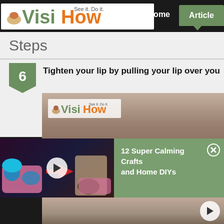[Figure (logo): VisiHow logo with 'See it. Do it.' tagline; green 'Visi' and orange 'How' text]
Home  Articles
Steps
6  Tighten your lip by pulling your lip over your teeth
[Figure (screenshot): Video thumbnail showing VisiHow logo overlaid on close-up of person's face]
[Figure (screenshot): Overlay ad video: crafts with blue glitter and pink molds]
12 Super Calming Crafts and Home DIYs